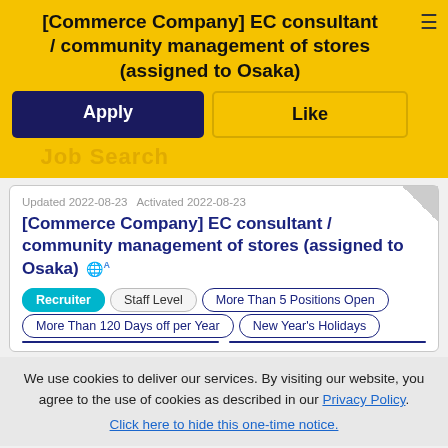[Commerce Company] EC consultant / community management of stores (assigned to Osaka)
Apply
Like
Updated 2022-08-23 Activated 2022-08-23
[Commerce Company] EC consultant / community management of stores (assigned to Osaka)
Recruiter
Staff Level
More Than 5 Positions Open
More Than 120 Days off per Year
New Year's Holidays
We use cookies to deliver our services. By visiting our website, you agree to the use of cookies as described in our Privacy Policy.
Click here to hide this one-time notice.